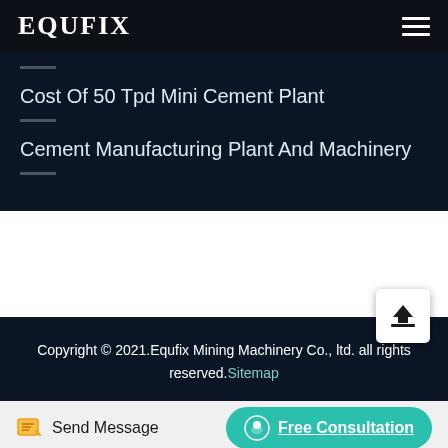EQUFIX
Cost Of 50 Tpd Mini Cement Plant
Cement Manufacturing Plant And Machinery
Copyright © 2021.Equfix Mining Machinery Co., ltd. all rights reserved. Sitemap
Send Message
Free Consultation